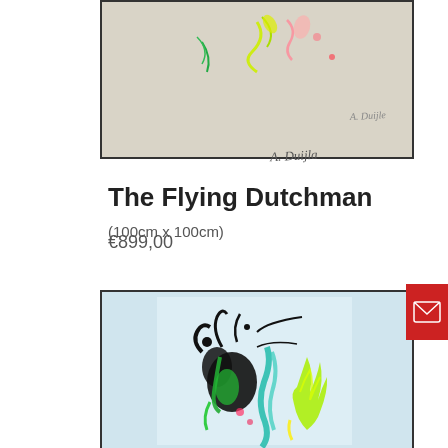[Figure (photo): Abstract painting with colorful splatters on beige background, with artist signature]
The Flying Dutchman (100cm x 100cm)
€899,00
[Figure (photo): Abstract painting with black, green, teal and yellow splatters and fluid shapes on light blue background]